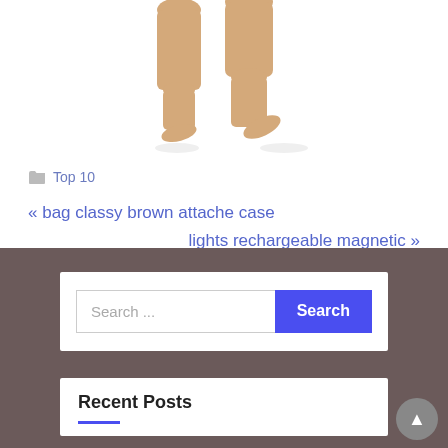[Figure (photo): Lower legs and feet of a mannequin or model wearing sheer nude/tan stockings or tights, walking pose, white background]
Top 10
« bag classy brown attache case
lights rechargeable magnetic »
Search ...
Recent Posts